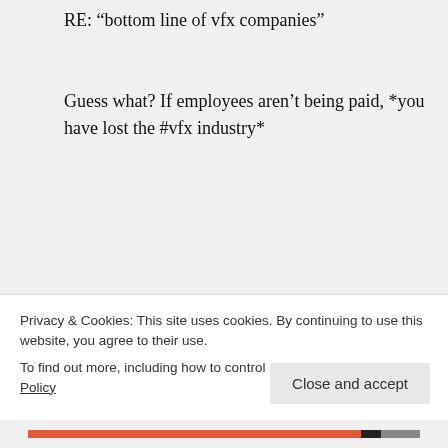RE: “bottom line of vfx companies”
Guess what? If employees aren’t being paid, *you have lost the #vfx industry*
Scott Ross on March 27, 2012 at 12:01 pm
@virtualbri…
Privacy & Cookies: This site uses cookies. By continuing to use this website, you agree to their use.
To find out more, including how to control cookies, see here: Cookie Policy